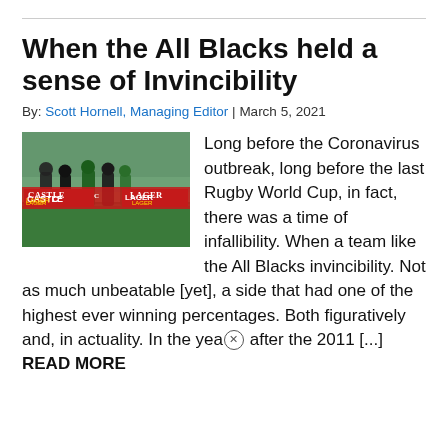When the All Blacks held a sense of Invincibility
By: Scott Hornell, Managing Editor | March 5, 2021
[Figure (photo): Rugby players running on field, Castle Lager advertising boards visible in background]
Long before the Coronavirus outbreak, long before the last Rugby World Cup, in fact, there was a time of infallibility. When a team like the All Blacks invincibility. Not as much unbeatable [yet], a side that had one of the highest ever winning percentages. Both figuratively and, in actuality. In the year after the 2011 [...] READ MORE